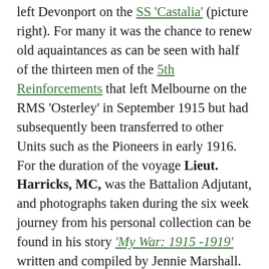...left Devonport on the SS 'Castalia' (picture right). For many it was the chance to renew old aquaintances as can be seen with half of the thirteen men of the 5th Reinforcements that left Melbourne on the RMS 'Osterley' in September 1915 but had subsequently been transferred to other Units such as the Pioneers in early 1916. For the duration of the voyage Lieut. Harricks, MC, was the Battalion Adjutant, and photographs taken during the six week journey from his personal collection can be found in his story 'My War: 1915 –1919' written and compiled by Jennie Marshall. Meanwhile in Belgium Quota No.33 consisting of 1 Officer and 3 Other Ranks left Marcinelle to begin their return to Australia.